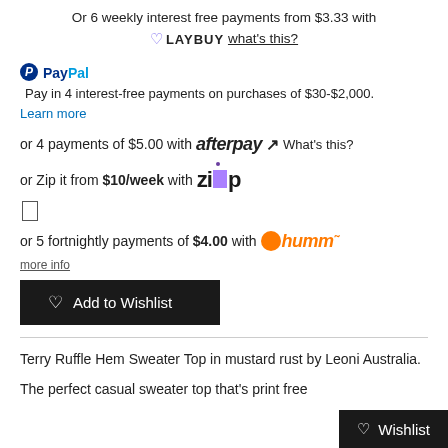Or 6 weekly interest free payments from $3.33 with LAYBUY what's this?
PayPal Pay in 4 interest-free payments on purchases of $30-$2,000. Learn more
or 4 payments of $5.00 with afterpay What's this?
or Zip it from $10/week with Zip
or 5 fortnightly payments of $4.00 with humm more info
Add to Wishlist
Terry Ruffle Hem Sweater Top in mustard rust by Leoni Australia.
The perfect casual sweater top that's print free
Wishlist